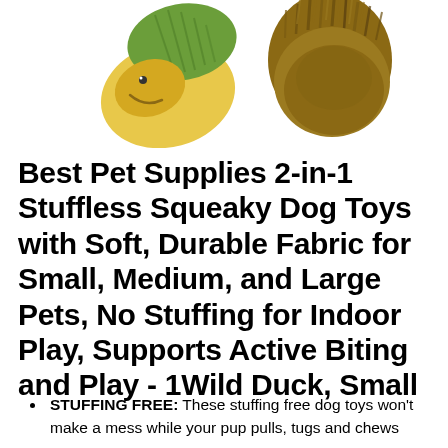[Figure (photo): Two dog toys partially visible at the top of the page: a yellow and green stuffed duck toy on the left, and a brown shaggy/fluffy toy on the right, photographed against a white background.]
Best Pet Supplies 2-in-1 Stuffless Squeaky Dog Toys with Soft, Durable Fabric for Small, Medium, and Large Pets, No Stuffing for Indoor Play, Supports Active Biting and Play - 1Wild Duck, Small
STUFFING FREE: These stuffing free dog toys won't make a mess while your pup pulls, tugs and chews away.